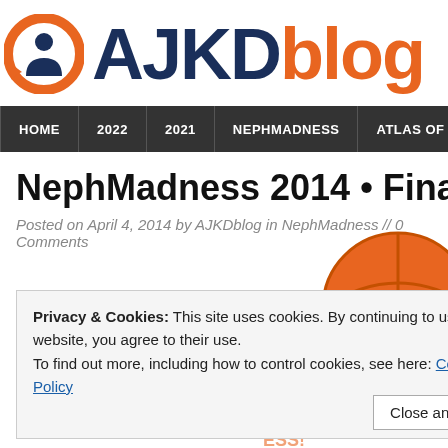[Figure (logo): AJKD Blog logo with kidney icon (orange circle with person figure) and text AJKDblog in dark blue and orange]
HOME | 2022 | 2021 | NEPHMADNESS | ATLAS OF RENA...
NephMadness 2014 • Final F...
Posted on April 4, 2014 by AJKDblog in NephMadness // 0 Comments
Privacy & Cookies: This site uses cookies. By continuing to use this website, you agree to their use.
To find out more, including how to control cookies, see here: Cookie Policy
[Figure (illustration): NephMadness 2014 tournament bracket graphic with basketball and large orange NEPHMADNESS text]